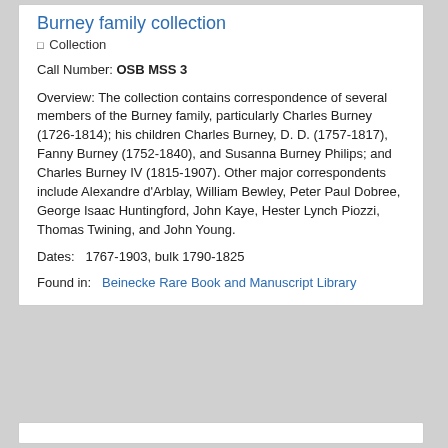Burney family collection
☐ Collection
Call Number: OSB MSS 3
Overview: The collection contains correspondence of several members of the Burney family, particularly Charles Burney (1726-1814); his children Charles Burney, D. D. (1757-1817), Fanny Burney (1752-1840), and Susanna Burney Philips; and Charles Burney IV (1815-1907). Other major correspondents include Alexandre d'Arblay, William Bewley, Peter Paul Dobree, George Isaac Huntingford, John Kaye, Hester Lynch Piozzi, Thomas Twining, and John Young.
Dates:   1767-1903, bulk 1790-1825
Found in:   Beinecke Rare Book and Manuscript Library